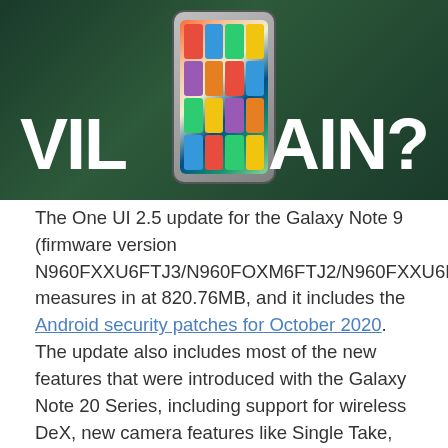[Figure (screenshot): A dark green background image with large bold white text reading 'VILLAIN?' with a smartphone displaying a colorful app grid screen visible in the center.]
The One UI 2.5 update for the Galaxy Note 9 (firmware version N960FXXU6FTJ3/N960FOXM6FTJ2/N960FXXU6FTJ1) measures in at 820.76MB, and it includes the Android security patches for October 2020. The update also includes most of the new features that were introduced with the Galaxy Note 20 Series, including support for wireless DeX, new camera features like Single Take, improvements for the Samsung Keyboard app, and more.